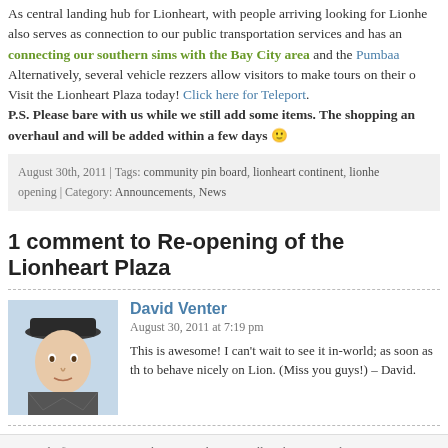As central landing hub for Lionheart, with people arriving looking for Lionheart, it also serves as connection to our public transportation services and has an connecting our southern sims with the Bay City area and the Pumbaa. Alternatively, several vehicle rezzers allow visitors to make tours on their own. Visit the Lionheart Plaza today! Click here for Teleport. P.S. Please bare with us while we still add some items. The shopping an overhaul and will be added within a few days 🙂
August 30th, 2011 | Tags: community pin board, lionheart continent, lionheart opening | Category: Announcements, News
1 comment to Re-opening of the Lionheart Plaza
David Venter
August 30, 2011 at 7:19 pm
This is awesome! I can't wait to see it in-world; as soon as th to behave nicely on Lion. (Miss you guys!) – David.
Copyright © 2007 - 2022 Lionheart Virtual Estate - All Rights Reserved
Second Life®, Linden Labs® and the inSL Logo are Trademarks of Linden Rese...
Powered